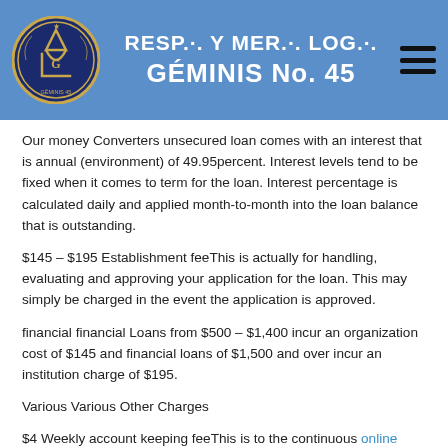RESP.·. Y MER.·. LOG.·. GÉMINIS No. 45
Our money Converters unsecured loan comes with an interest that is annual (environment) of 49.95percent. Interest levels tend to be fixed when it comes to term for the loan. Interest percentage is calculated daily and applied month-to-month into the loan balance that is outstanding.
$145 – $195 Establishment feeThis is actually for handling, evaluating and approving your application for the loan. This may simply be charged in the event the application is approved.
financial financial Loans from $500 – $1,400 incur an organization cost of $145 and financial loans of $1,500 and over incur an institution charge of $195.
Various Various Other Charges
$4 Weekly account keeping feeThis is to the continuous online payday WY management expenses for the loan.
$20 Variation feeThis applies if you may well ask us, therefore we agree,